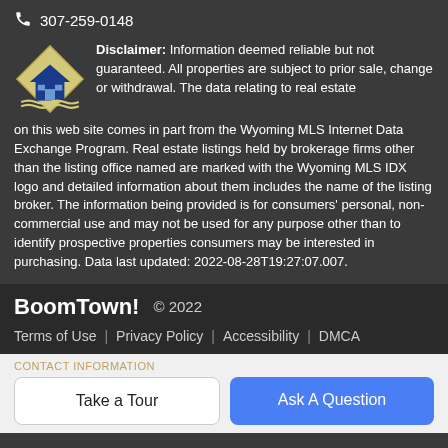307-259-0148
Disclaimer: Information deemed reliable but not guaranteed. All properties are subject to prior sale, change or withdrawal. The data relating to real estate on this web site comes in part from the Wyoming MLS Internet Data Exchange Program. Real estate listings held by brokerage firms other than the listing office named are marked with the Wyoming MLS IDX logo and detailed information about them includes the name of the listing broker. The information being provided is for consumers' personal, non-commercial use and may not be used for any purpose other than to identify prospective properties consumers may be interested in purchasing. Data last updated: 2022-08-28T19:27:07.007.
BoomTown! © 2022
Terms of Use | Privacy Policy | Accessibility | DMCA